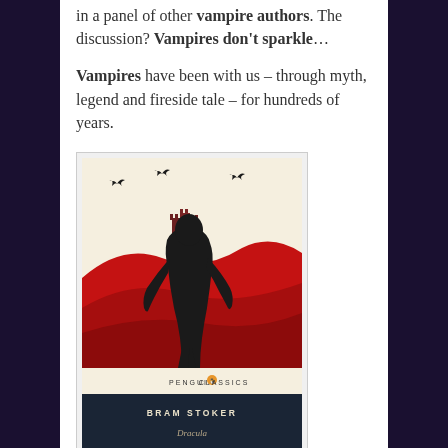in a panel of other vampire authors. The discussion? Vampires don't sparkle…
Vampires have been with us – through myth, legend and fireside tale – for hundreds of years.
[Figure (photo): Book cover of Dracula by Bram Stoker (Penguin Classics edition). Shows a black silhouette of a hunched vampire figure against red rolling hills with a dark castle in the background and bats flying in a pale sky. Dark navy band at bottom reads BRAM STOKER / Dracula.]
The idea of the immortal – given life through